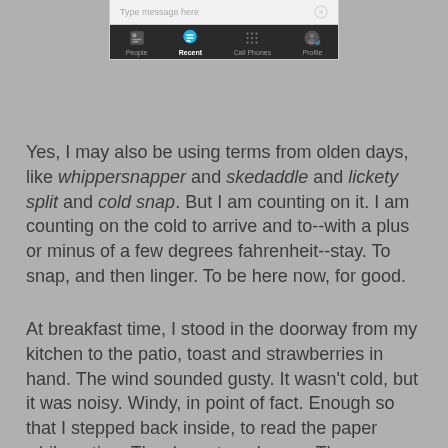[Figure (screenshot): Mobile app interface screenshot showing a messaging compose bar with 'Type message here' placeholder and a bottom navigation bar with icons for People, Recent (active/highlighted in blue), Call Phones, and Profile on a dark background.]
Yes, I may also be using terms from olden days, like whippersnapper and skedaddle and lickety split and cold snap. But I am counting on it. I am counting on the cold to arrive and to--with a plus or minus of a few degrees fahrenheit--stay. To snap, and then linger. To be here now, for good.
At breakfast time, I stood in the doorway from my kitchen to the patio, toast and strawberries in hand. The wind sounded gusty. It wasn't cold, but it was noisy. Windy, in point of fact. Enough so that I stepped back inside, to read the paper while eating. The door stayed open. There was a discourse between the still kitchen and the blustery backyard, but I was in and the bluster was out, and that's the way it had to be.
Warm, but with a prophesying wind. Sunny, but with prognosticating clouds.